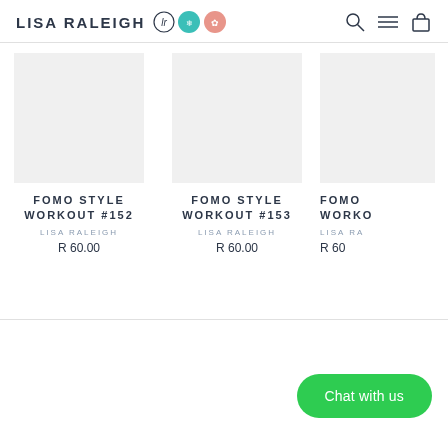LISA RALEIGH
[Figure (screenshot): Product listing page showing FOMO Style Workout products #152, #153, and a partially visible third item, each priced at R 60.00, with a Chat with us button in the bottom right.]